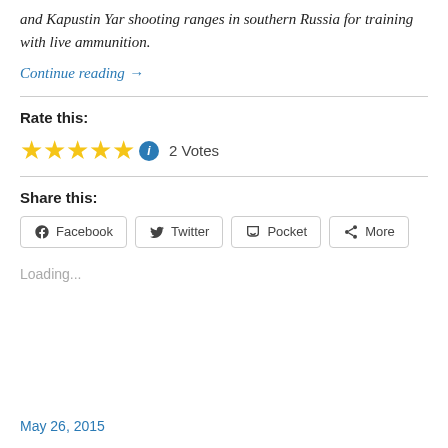and Kapustin Yar shooting ranges in southern Russia for training with live ammunition.
Continue reading →
Rate this:
★★★★★ ℹ 2 Votes
Share this:
Facebook  Twitter  Pocket  More
Loading...
May 26, 2015